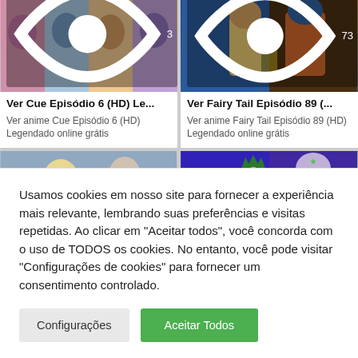[Figure (screenshot): Anime thumbnail for Cue Episode 6 with view count 3]
[Figure (screenshot): Anime thumbnail for Fairy Tail Episode 89 with view count 73]
Ver Cue Episódio 6 (HD) Le...
Ver anime Cue Episódio 6 (HD) Legendado online grátis
Ver Fairy Tail Episódio 89 (...
Ver anime Fairy Tail Episódio 89 (HD) Legendado online grátis
[Figure (screenshot): Anime thumbnail showing two characters fighting]
[Figure (screenshot): Anime thumbnail for Hunter x Hunter with Gon and other characters]
Usamos cookies em nosso site para fornecer a experiência mais relevante, lembrando suas preferências e visitas repetidas. Ao clicar em "Aceitar todos", você concorda com o uso de TODOS os cookies. No entanto, você pode visitar "Configurações de cookies" para fornecer um consentimento controlado.
Configurações
Aceitar Todos